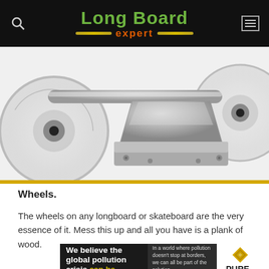Long Board expert
[Figure (photo): Close-up photo of a silver/chrome longboard truck with clear wheels labeled 'Speed Cruise' on a white background]
Wheels.
The wheels on any longboard or skateboard are the very essence of it. Mess this up and all you have is a plank of wood.
[Figure (other): Pure Earth advertisement banner: 'We believe the global pollution crisis can be solved. In a world where pollution doesn't stop at borders, we can all be part of the solution. JOIN US.' with Pure Earth logo.]